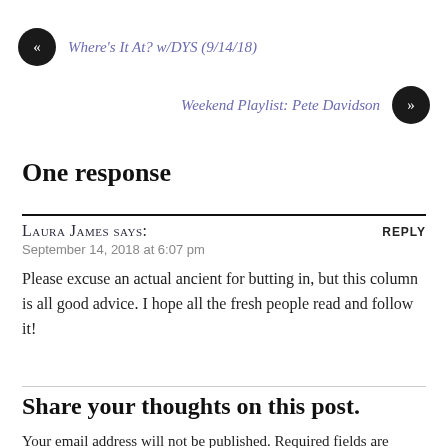« Where's It At? w/DYS (9/14/18)
Weekend Playlist: Pete Davidson »
One response
Laura James says:
September 14, 2018 at 6:07 pm
Please excuse an actual ancient for butting in, but this column is all good advice. I hope all the fresh people read and follow it!
Share your thoughts on this post.
Your email address will not be published. Required fields are marked *